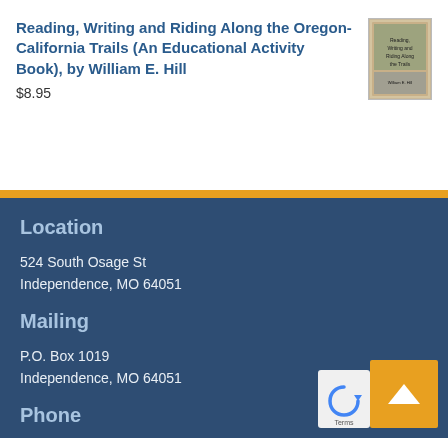Reading, Writing and Riding Along the Oregon-California Trails (An Educational Activity Book), by William E. Hill
$8.95
[Figure (photo): Book cover thumbnail for the educational activity book about Oregon-California Trails]
Location
524 South Osage St
Independence, MO 64051
Mailing
P.O. Box 1019
Independence, MO 64051
Phone